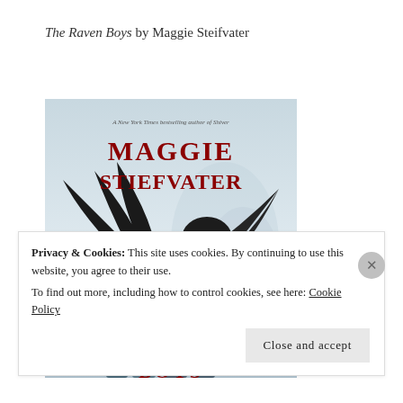The Raven Boys by Maggie Steifvater
[Figure (photo): Book cover of 'The Raven Boys' by Maggie Stiefvater showing a large black raven with spread wings above four young men, with the author's name in large red letters at top and the book title in red at the bottom.]
Privacy & Cookies: This site uses cookies. By continuing to use this website, you agree to their use.
To find out more, including how to control cookies, see here: Cookie Policy
Close and accept